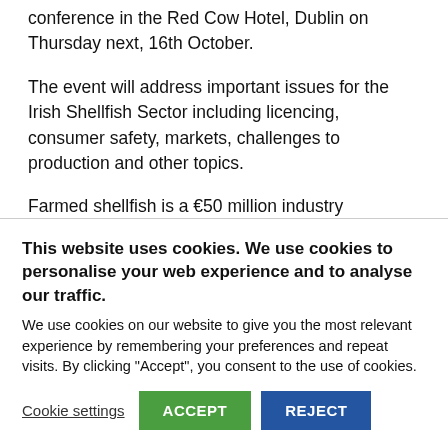conference in the Red Cow Hotel, Dublin on Thursday next, 16th October.
The event will address important issues for the Irish Shellfish Sector including licencing, consumer safety, markets, challenges to production and other topics.
Farmed shellfish is a €50 million industry
This website uses cookies. We use cookies to personalise your web experience and to analyse our traffic.
We use cookies on our website to give you the most relevant experience by remembering your preferences and repeat visits. By clicking "Accept", you consent to the use of cookies.